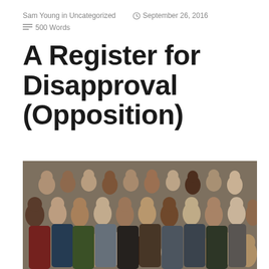Sam Young in Uncategorized   September 26, 2016   500 Words
A Register for Disapproval (Opposition)
[Figure (photo): Aerial view of a large diverse crowd of people looking upward toward the camera, densely packed together.]